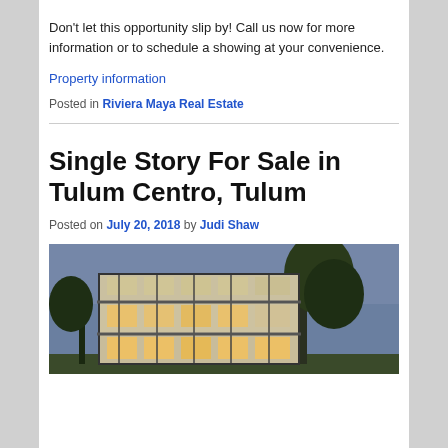Don't let this opportunity slip by! Call us now for more information or to schedule a showing at your convenience.
Property information
Posted in Riviera Maya Real Estate
Single Story For Sale in Tulum Centro, Tulum
Posted on July 20, 2018 by Judi Shaw
[Figure (photo): Exterior photo of a modern multi-story building with large glass windows and trees in the background at dusk]